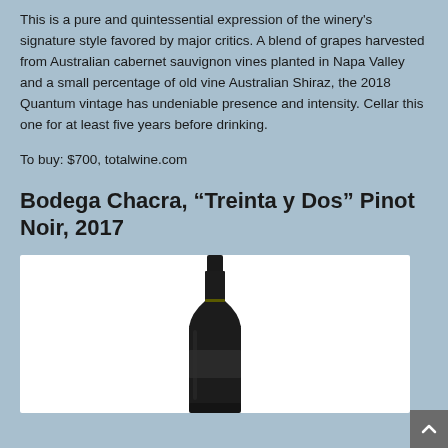This is a pure and quintessential expression of the winery's signature style favored by major critics. A blend of grapes harvested from Australian cabernet sauvignon vines planted in Napa Valley and a small percentage of old vine Australian Shiraz, the 2018 Quantum vintage has undeniable presence and intensity. Cellar this one for at least five years before drinking.
To buy: $700, totalwine.com
Bodega Chacra, “Treinta y Dos” Pinot Noir, 2017
[Figure (photo): A wine bottle (Bodega Chacra Treinta y Dos Pinot Noir 2017) standing upright against a white background. The bottle is dark/black with a black capsule top and a dark label.]